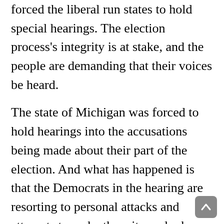forced the liberal run states to hold special hearings. The election process's integrity is at stake, and the people are demanding that their voices be heard.
The state of Michigan was forced to hold hearings into the accusations being made about their part of the election. And what has happened is that the Democrats in the hearing are resorting to personal attacks and attempts to make the witness look stupid.
Republicans and witnesses are demanding that the electors beheld until the truth is found regarding the fraud and illegal activity that took place. Arizona and Pennsylvania are only two of the many hearings taking place, and in every case, the liberals verbally